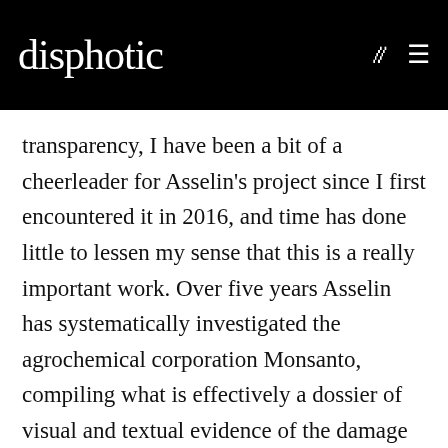disphotic
transparency, I have been a bit of a cheerleader for Asselin's project since I first encountered it in 2016, and time has done little to lessen my sense that this is a really important work. Over five years Asselin has systematically investigated the agrochemical corporation Monsanto, compiling what is effectively a dossier of visual and textual evidence of the damage that their business has done internationally. From Vietnamese children still suffering the consequences of the highly toxic military defoliant Agent Orange, to United